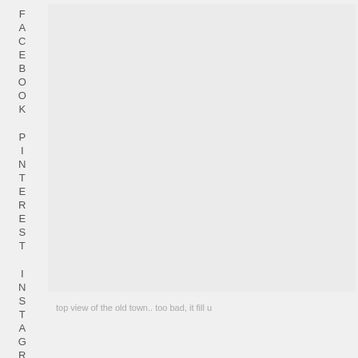FACEBOOK
PINTEREST
INSTAGRAM
[Figure (photo): Large light gray image area, appears to be a placeholder or blank image panel]
top view of the old town.. too bad, it fill u